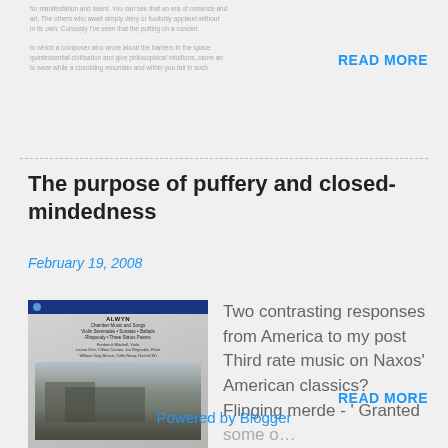[Previous post text snippet - small grey text at top left]
READ MORE
The purpose of puffery and closed-mindedness
February 19, 2008
[Figure (photo): Album cover for Alwyn Chamber Music and Songs]
Two contrasting responses from America to my post Third rate music on Naxos’ American classics? Flinging merde - ‘ Granted some o…
READ MORE
Powered by Blogger